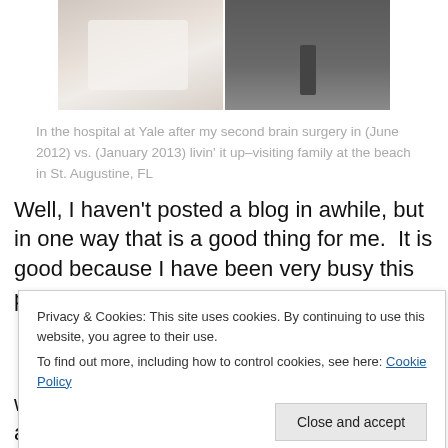[Figure (photo): Two side-by-side photos: left shows a person in a hospital bed in white clothing at Yale, right shows a person standing outdoors at a beach in St. Augustine, FL]
In the hospital at Yale after my second brain surgery in (June 2012) vs. (January 2013) livin' it up–visiting family at the beach in St. Augustine, FL
Well, I haven't posted a blog in awhile, but in one way that is a good thing for me.  It is good because I have been very busy this past month, and the way things are looking
Privacy & Cookies: This site uses cookies. By continuing to use this website, you agree to their use.
To find out more, including how to control cookies, see here: Cookie Policy
with no mode of transportation, I discover and create ways